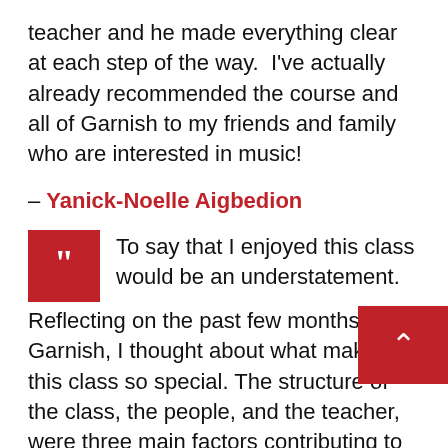teacher and he made everything clear at each step of the way.  I've actually already recommended the course and all of Garnish to my friends and family who are interested in music!
– Yanick-Noelle Aigbedion
To say that I enjoyed this class would be an understatement. Reflecting on the past few months at Garnish, I thought about what makes this class so special. The structure of the class, the people, and the teacher, were three main factors contributing to the overall awesome environment of the class. The class is set up in a way that encourages everyone to share their work